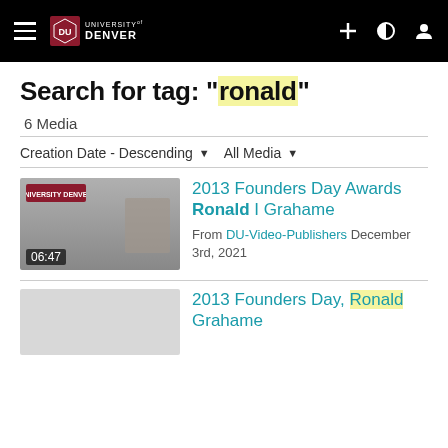University of Denver navigation bar with logo, hamburger menu, and icons
Search for tag: "ronald"
6 Media
Creation Date - Descending   All Media
[Figure (screenshot): Video thumbnail showing University of Denver logo and blurred person, with timestamp 06:47]
2013 Founders Day Awards Ronald I Grahame
From DU-Video-Publishers December 3rd, 2021
[Figure (screenshot): Light gray video thumbnail, partially visible at bottom of page]
2013 Founders Day, Ronald Grahame